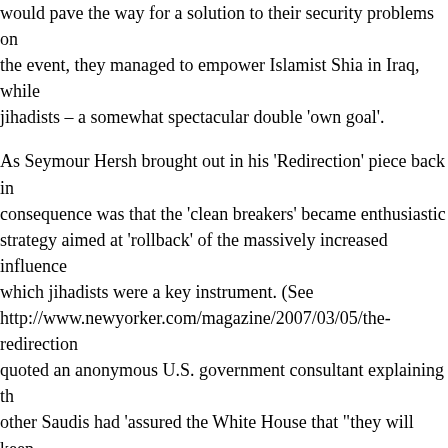would pave the way for a solution to their security problems on the event, they managed to empower Islamist Shia in Iraq, while jihadists – a somewhat spectacular double 'own goal'.
As Seymour Hersh brought out in his 'Redirection' piece back in consequence was that the 'clean breakers' became enthusiastic strategy aimed at 'rollback' of the massively increased influence which jihadists were a key instrument. (See http://www.newyorker.com/magazine/2007/03/05/the-redirection quoted an anonymous U.S. government consultant explaining that other Saudis had 'assured the White House that "they will keep religious fundamentalists. Their message to us was 'We've created we can control it.' And apparently people still thought jihadist far even after the attack on the World Trade Center. It is interesting 'Redirection' article, in the light of the December 2006 cable from chargé d'affairs in the U.S. Embassy in Damascus, to which 'Ma attention in a recent comment. The text of the cable, which meri available at https://wikileaks.org/plusd/cables/06DAMASCUS53 provides the Embassy's 'summary of potential vulnerabilities' of together with 'possible means to exploit them.' A representative happy willingness to light matches next to a leaky gas boiler set